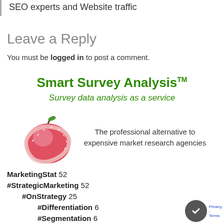SEO experts and Website traffic
Leave a Reply
You must be logged in to post a comment.
[Figure (logo): Smart Survey Analysis advertisement block with green bold title, italic subtitle 'Survey data analysis as a service', an apple wrapped in measuring tape image, and text 'The professional alternative to expensive market research agencies']
MarketingStat 52
#StrategicMarketing 52
#OnStrategy 25
#Differentiation 6
#Segmentation 6